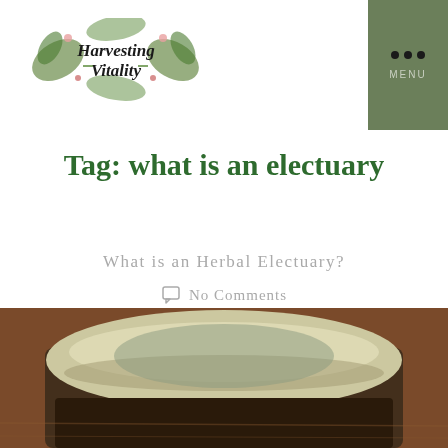[Figure (logo): Harvesting Vitality logo with botanical illustrations and stylized text]
[Figure (other): Green menu box with three dots and MENU label in top right corner]
Tag: what is an electuary
What is an Herbal Electuary?
No Comments
[Figure (photo): Close-up photo of a jar with a silver/gold metallic lid on a brown wooden surface, containing a dark substance]